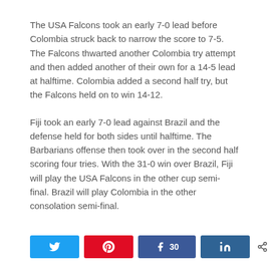The USA Falcons took an early 7-0 lead before Colombia struck back to narrow the score to 7-5. The Falcons thwarted another Colombia try attempt and then added another of their own for a 14-5 lead at halftime. Colombia added a second half try, but the Falcons held on to win 14-12.
Fiji took an early 7-0 lead against Brazil and the defense held for both sides until halftime. The Barbarians offense then took over in the second half scoring four tries. With the 31-0 win over Brazil, Fiji will play the USA Falcons in the other cup semi-final. Brazil will play Colombia in the other consolation semi-final.